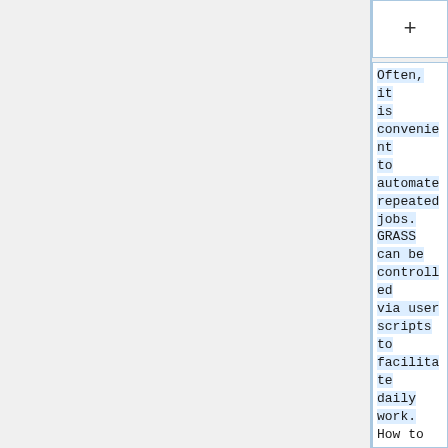+
Often, it is convenient to automate repeated jobs. GRASS can be controlled via user scripts to facilitate daily work. How to start? Using the command line is a kind of writing scripts